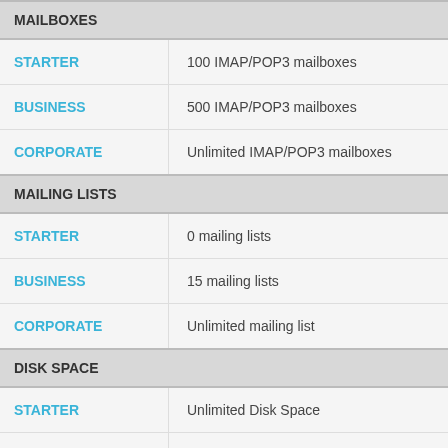MAILBOXES
| STARTER | 100 IMAP/POP3 mailboxes |
| BUSINESS | 500 IMAP/POP3 mailboxes |
| CORPORATE | Unlimited IMAP/POP3 mailboxes |
MAILING LISTS
| STARTER | 0 mailing lists |
| BUSINESS | 15 mailing lists |
| CORPORATE | Unlimited mailing list |
DISK SPACE
| STARTER | Unlimited Disk Space |
| BUSINESS | Unlimited Disk Space |
| CORPORATE | Unlimited Disk Space |